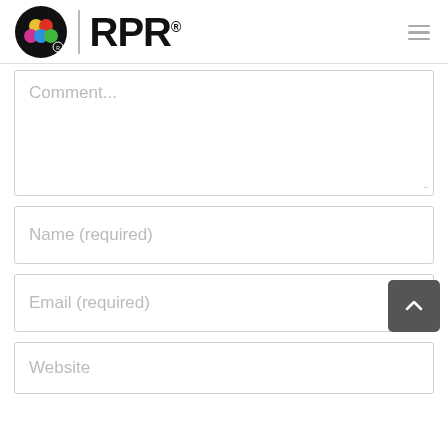RPR
Comment...
Name (required)
Email (required)
Website